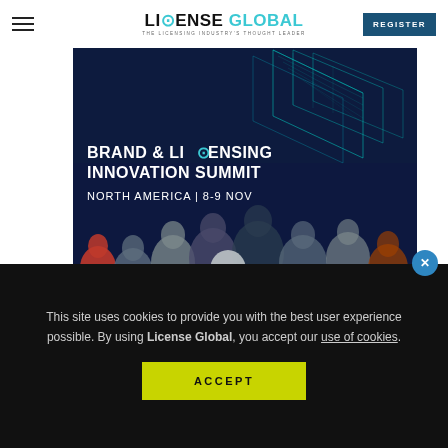LICENSE GLOBAL — THE LICENSING INDUSTRY'S THOUGHT LEADER
[Figure (illustration): Brand & Licensing Innovation Summit North America | 8-9 Nov promotional banner. Dark blue background with geometric cyan grid shapes at top, audience of people in foreground. Text: BRAND & LICENSING INNOVATION SUMMIT, NORTH AMERICA | 8-9 NOV, UNITING LICENSING LEADERS THIS FALL. Learn More button.]
This site uses cookies to provide you with the best user experience possible. By using License Global, you accept our use of cookies.
ACCEPT